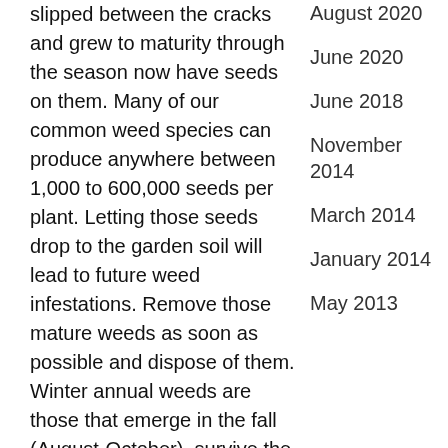slipped between the cracks and grew to maturity through the season now have seeds on them. Many of our common weed species can produce anywhere between 1,000 to 600,000 seeds per plant. Letting those seeds drop to the garden soil will lead to future weed infestations. Remove those mature weeds as soon as possible and dispose of them. Winter annual weeds are those that emerge in the fall (August-October), survive the winter and continue growing
August 2020
June 2020
June 2018
November 2014
March 2014
January 2014
May 2013